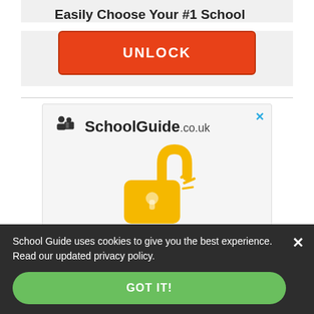Easily Choose Your #1 School
UNLOCK
[Figure (screenshot): SchoolGuide.co.uk advertisement banner with logo and open padlock icon]
School Guide uses cookies to give you the best experience. Read our updated privacy policy.
GOT IT!